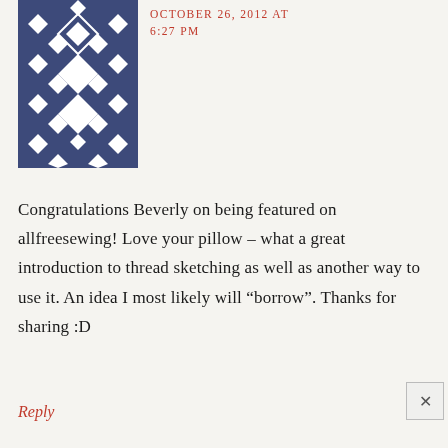[Figure (illustration): Avatar image showing a geometric diamond/snowflake quilt pattern in dark navy/indigo blue and white]
OCTOBER 26, 2012 AT 6:27 PM
Congratulations Beverly on being featured on allfreesewing! Love your pillow – what a great introduction to thread sketching as well as another way to use it. An idea I most likely will “borrow”. Thanks for sharing :D
Reply